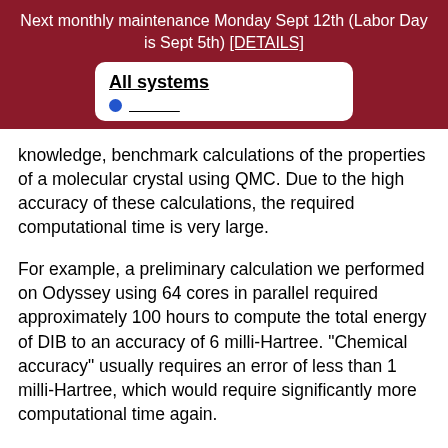Next monthly maintenance Monday Sept 12th (Labor Day is Sept 5th) [DETAILS]
knowledge, benchmark calculations of the properties of a molecular crystal using QMC. Due to the high accuracy of these calculations, the required computational time is very large.
For example, a preliminary calculation we performed on Odyssey using 64 cores in parallel required approximately 100 hours to compute the total energy of DIB to an accuracy of 6 milli-Hartree. "Chemical accuracy" usually requires an error of less than 1 milli-Hartree, which would require significantly more computational time again.
Our calculations are performed using the